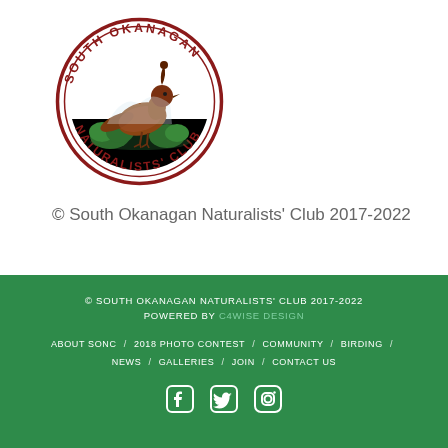[Figure (logo): South Okanagan Naturalists' Club circular logo with a brown bird (California Quail) and green shrubs inside a red circular border with text around the perimeter]
© South Okanagan Naturalists' Club 2017-2022
© SOUTH OKANAGAN NATURALISTS' CLUB 2017-2022
POWERED BY C4WISE DESIGN
ABOUT SONC / 2018 PHOTO CONTEST / COMMUNITY / BIRDING / NEWS / GALLERIES / JOIN / CONTACT US